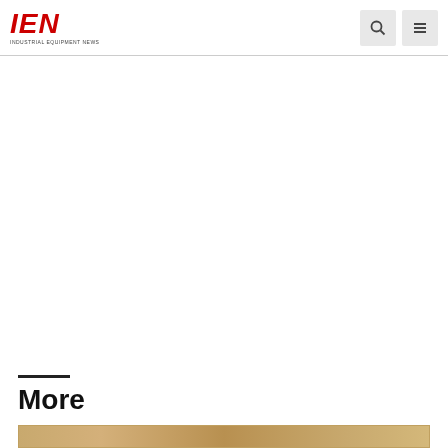IEN INDUSTRIAL EQUIPMENT NEWS
More
[Figure (photo): Partial view of a wooden or industrial surface at the bottom of the page]